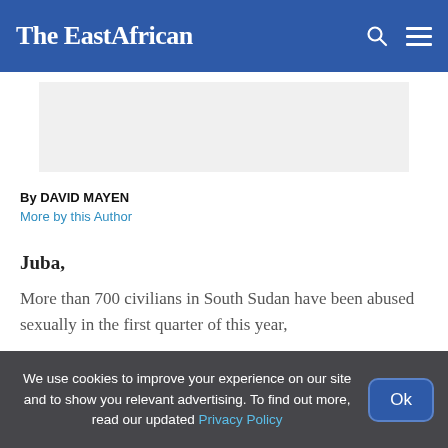The EastAfrican
[Figure (other): Gray advertisement placeholder banner]
By DAVID MAYEN
More by this Author
Juba,
More than 700 civilians in South Sudan have been abused sexually in the first quarter of this year,
We use cookies to improve your experience on our site and to show you relevant advertising. To find out more, read our updated Privacy Policy